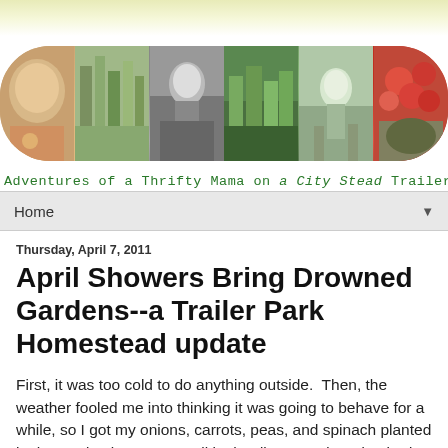[Figure (photo): Blog header banner with collage of six photos showing a child smiling, lavender plants, a child working in the garden, green plants/vegetables, a toddler outdoors, and a bowl of tomatoes and vegetables. Overlaid with handwritten-style green text: Adventures of a Thrifty Mama on a City Stead Trailer Park Homestead]
Home
Thursday, April 7, 2011
April Showers Bring Drowned Gardens--a Trailer Park Homestead update
First, it was too cold to do anything outside.  Then, the weather fooled me into thinking it was going to behave for a while, so I got my onions, carrots, peas, and spinach planted in the garden boxes, as well in the discovered garden bed I